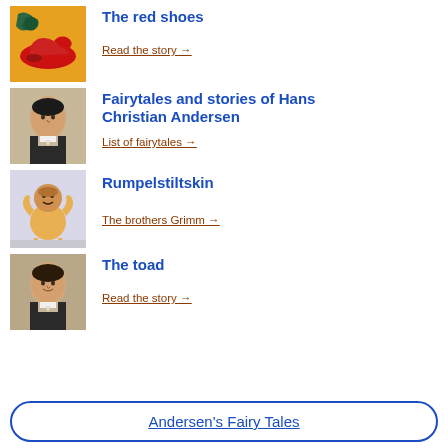The red shoes | Read the story →
Fairytales and stories of Hans Christian Andersen | List of fairytales →
Rumpelstiltskin | The brothers Grimm →
The toad | Read the story →
Andersen's Fairy Tales